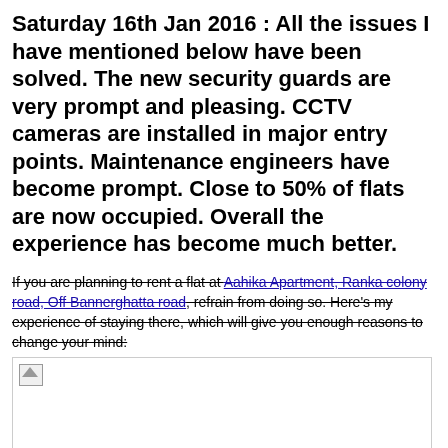Saturday 16th Jan 2016 : All the issues I have mentioned below have been solved. The new security guards are very prompt and pleasing. CCTV cameras are installed in major entry points. Maintenance engineers have become prompt. Close to 50% of flats are now occupied. Overall the experience has become much better.
If you are planning to rent a flat at Aahika Apartment, Ranka colony road, Off Bannerghatta road, refrain from doing so. Here's my experience of staying there, which will give you enough reasons to change your mind:
[Figure (photo): Broken/missing image placeholder with small image icon in top-left corner]